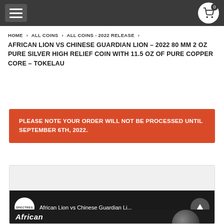Navigation header with menu and cart buttons
HOME > ALL COINS > ALL COINS - 2022 RELEASE >
AFRICAN LION VS CHINESE GUARDIAN LION – 2022 80 MM 2 OZ PURE SILVER HIGH RELIEF COIN WITH 11.5 OZ OF PURE COPPER CORE – TOKELAU
PLEASE NOTE YOUR ORDER WILL NOT BE PROCESSED UNTIL SEPTEMBER 6TH, 2022.
[Figure (screenshot): Video thumbnail showing African Lion vs Chinese Guardian Lion coin with Spectres logo and video title]